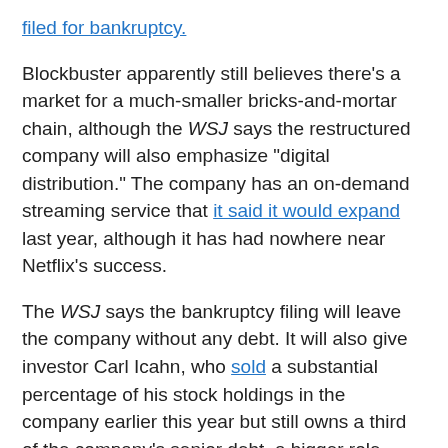filed for bankruptcy.
Blockbuster apparently still believes there's a market for a much-smaller bricks-and-mortar chain, although the WSJ says the restructured company will also emphasize "digital distribution." The company has an on-demand streaming service that it said it would expand last year, although it has had nowhere near Netflix's success.
The WSJ says the bankruptcy filing will leave the company without any debt. It will also give investor Carl Icahn, who sold a substantial percentage of his stock holdings in the company earlier this year but still owns a third of the company's senior debt, a bigger role, including a board seat.
We've reached out to Blockbuster for comment and will update when we hear back.